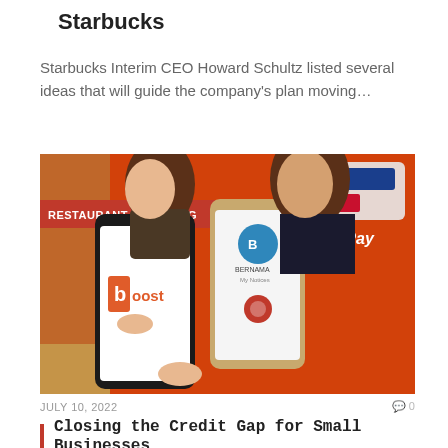Starbucks
Starbucks Interim CEO Howard Schultz listed several ideas that will guide the company's plan moving…
[Figure (photo): Two women holding up smartphones in front of an orange UnionPay banner. One phone displays the Boost app logo, the other shows the Bernama app. A red label in the top-left corner reads 'RESTAURANT FINANCING'.]
JULY 10, 2022    0 0
Closing the Credit Gap for Small Businesses